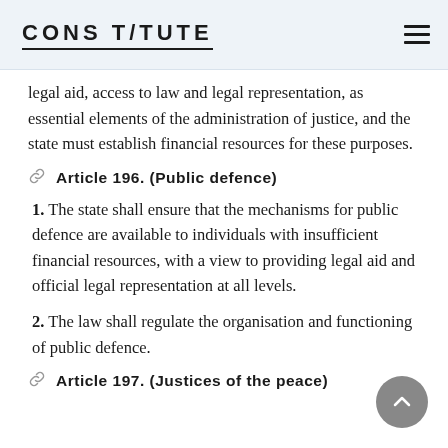CONSTITUTE
legal aid, access to law and legal representation, as essential elements of the administration of justice, and the state must establish financial resources for these purposes.
Article 196. (Public defence)
1. The state shall ensure that the mechanisms for public defence are available to individuals with insufficient financial resources, with a view to providing legal aid and official legal representation at all levels.
2. The law shall regulate the organisation and functioning of public defence.
Article 197. (Justices of the peace)